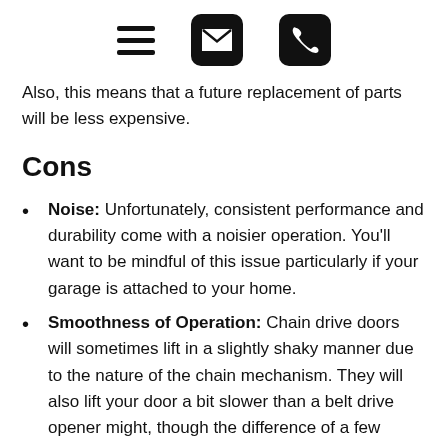[hamburger menu icon] [email icon] [phone icon]
Also, this means that a future replacement of parts will be less expensive.
Cons
Noise: Unfortunately, consistent performance and durability come with a noisier operation. You'll want to be mindful of this issue particularly if your garage is attached to your home.
Smoothness of Operation: Chain drive doors will sometimes lift in a slightly shaky manner due to the nature of the chain mechanism. They will also lift your door a bit slower than a belt drive opener might, though the difference of a few seconds